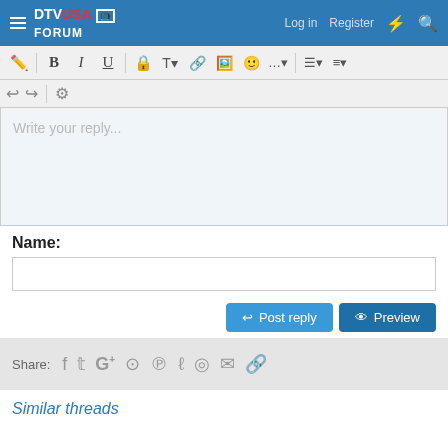DTV USA FORUM — Log in | Register
[Figure (screenshot): Forum text editor toolbar with formatting buttons: pencil, Bold, Italic, Underline, text color, font, link, image, emoji, more, align, list]
Write your reply...
Name:
Post reply | Preview
Share: Facebook, Twitter, Google+, Reddit, Pinterest, Tumblr, WhatsApp, Email, Link
Similar threads